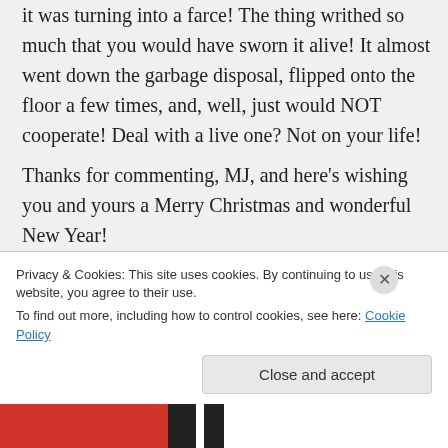it was turning into a farce! The thing withed so much that you would have sworn it alive! It almost went down the garbage disposal, flipped onto the floor a few times, and, well, just would NOT cooperate! Deal with a live one? Not on your life! Thanks for commenting, MJ, and here’s wishing you and yours a Merry Christmas and wonderful New Year!
★ Like
↲ Reply
Privacy & Cookies: This site uses cookies. By continuing to use this website, you agree to their use.
To find out more, including how to control cookies, see here: Cookie Policy
Close and accept